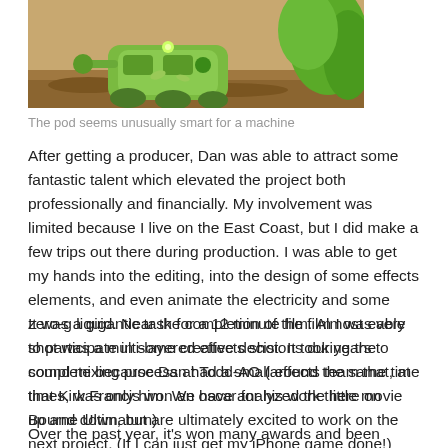[Figure (illustration): Animated/illustrated image showing a green robot or machine pod in a garden-like setting with soil, plants, and green foliage]
The pod seems unusually smart for a machine
After getting a producer, Dan was able to attract some fantastic talent which elevated the project both professionally and financially. My involvement was limited because I live on the East Coast, but I did make a few trips out there during production. I was able to get my hands into the editing, into the design of some effects elements, and even animate the electricity and some zero-g liquid. Near the completion of the film I was able to participate in some creative decisions during the sound mixing process at Todd-AO (around the same time that Kirk Francis won an oscar for his work there on Bourne Ultimatum)
It was a gigantic task for a 12 minute film. Almost every shot was a multi-layered effects shot. It took years to complete because Dan had a small effects team that, at times, was only him. We have analyzed the little movie up and down, but are ultimately excited to work on the next project. (If I can just get my iPhone game done!)
Over the past year, it's won many awards and been selected in over 30